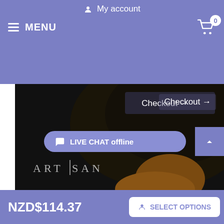My account
MENU
[Figure (screenshot): Dark black dog photo with Checkout arrow and Artisan logo overlay]
Doberman best quality genuine leather dog collar with embellishments
Click on the pictures to see bigger image
[Figure (photo): Brown dog close-up photo]
LIVE CHAT offline
NZD$114.37
SELECT OPTIONS